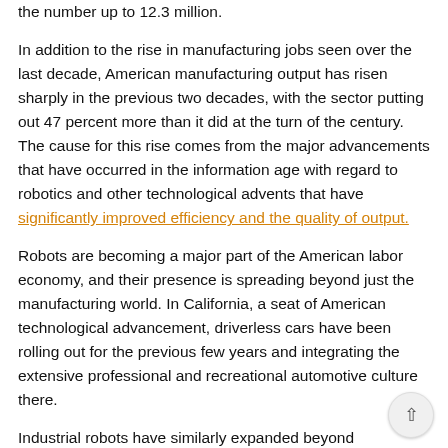the number up to 12.3 million.
In addition to the rise in manufacturing jobs seen over the last decade, American manufacturing output has risen sharply in the previous two decades, with the sector putting out 47 percent more than it did at the turn of the century. The cause for this rise comes from the major advancements that have occurred in the information age with regard to robotics and other technological advents that have significantly improved efficiency and the quality of output.
Robots are becoming a major part of the American labor economy, and their presence is spreading beyond just the manufacturing world. In California, a seat of American technological advancement, driverless cars have been rolling out for the previous few years and integrating the extensive professional and recreational automotive culture there.
Industrial robots have similarly expanded beyond